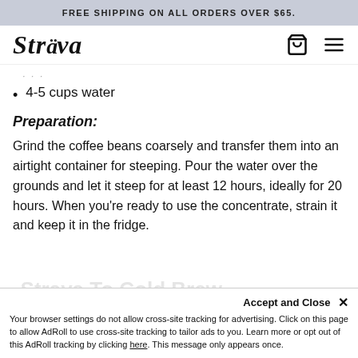FREE SHIPPING ON ALL ORDERS OVER $65.
[Figure (logo): Strava brand logo in italic script font]
4-5 cups water
Preparation:
Grind the coffee beans coarsely and transfer them into an airtight container for steeping. Pour the water over the grounds and let it steep for at least 12 hours, ideally for 20 hours. When you're ready to use the concentrate, strain it and keep it in the fridge.
Accept and Close ×
Your browser settings do not allow cross-site tracking for advertising. Click on this page to allow AdRoll to use cross-site tracking to tailor ads to you. Learn more or opt out of this AdRoll tracking by clicking here. This message only appears once.